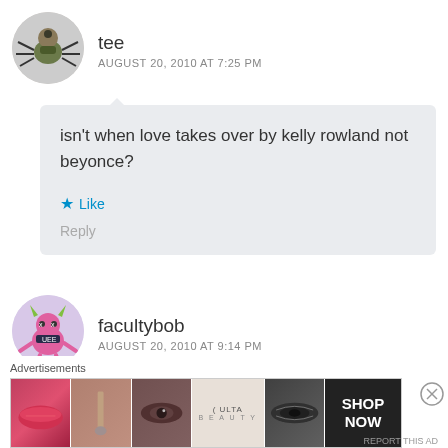[Figure (illustration): Spider-like avatar icon for user tee, circular crop]
tee
AUGUST 20, 2010 AT 7:25 PM
isn't when love takes over by kelly rowland not beyonce?
Like
Reply
[Figure (illustration): Pink cartoon devil/monster avatar for user facultybob, circular crop]
facultybob
AUGUST 20, 2010 AT 9:14 PM
Advertisements
[Figure (other): ULTA beauty advertisement banner showing makeup images with SHOP NOW button]